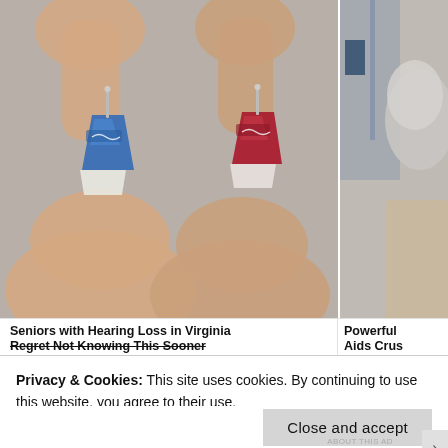[Figure (photo): Two small in-ear hearing aids (one blue, one red, both branded Signia) held between fingers against a blurred background, shown side by side]
[Figure (photo): Partial view of an elderly person, cropped on the right side of the image]
Seniors with Hearing Loss in Virginia Regret Not Knowing This Sooner
Powerful Aids Crus
Privacy & Cookies: This site uses cookies. By continuing to use this website, you agree to their use.
To find out more, including how to control cookies, see here: Cookie Policy
Close and accept